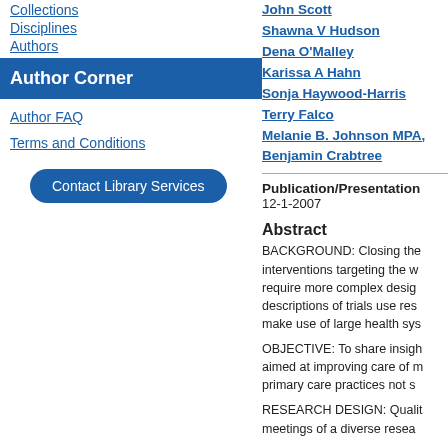Collections
Disciplines
Authors
Author Corner
Author FAQ
Terms and Conditions
Contact Library Services
John Scott
Shawna V Hudson
Dena O'Malley
Karissa A Hahn
Sonja Haywood-Harris
Terry Falco
Melanie B. Johnson MPA,
Benjamin Crabtree
Publication/Presentation
12-1-2007
Abstract
BACKGROUND: Closing the interventions targeting the w require more complex desig descriptions of trials use res make use of large health sys
OBJECTIVE: To share insigh aimed at improving care of m primary care practices not s
RESEARCH DESIGN: Qualit meetings of a diverse resea